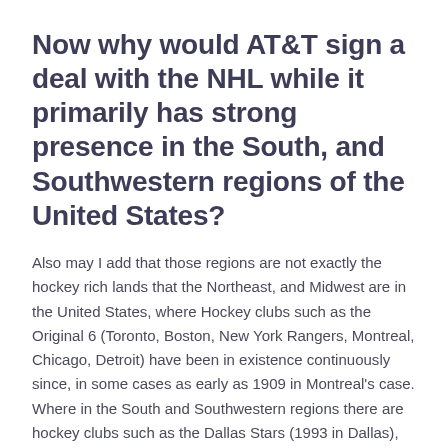Now why would AT&T sign a deal with the NHL while it primarily has strong presence in the South, and Southwestern regions of the United States?
Also may I add that those regions are not exactly the hockey rich lands that the Northeast, and Midwest are in the United States, where Hockey clubs such as the Original 6 (Toronto, Boston, New York Rangers, Montreal, Chicago, Detroit) have been in existence continuously since, in some cases as early as 1909 in Montreal's case. Where in the South and Southwestern regions there are hockey clubs such as the Dallas Stars (1993 in Dallas), Florida Panthers (1993), these are fresh pastures for the